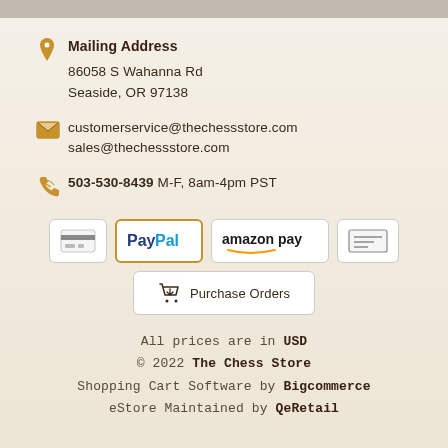Mailing Address, contact info header bar
Mailing Address
86058 S Wahanna Rd
Seaside, OR 97138
customerservice@thechessstore.com
sales@thechessstore.com
503-530-8439 M-F, 8am-4pm PST
[Figure (other): Payment method icons: credit card, PayPal, Amazon Pay, check/bank, and Purchase Orders button]
All prices are in USD
© 2022 The Chess Store
Shopping Cart Software by Bigcommerce
eStore Maintained by QeRetail